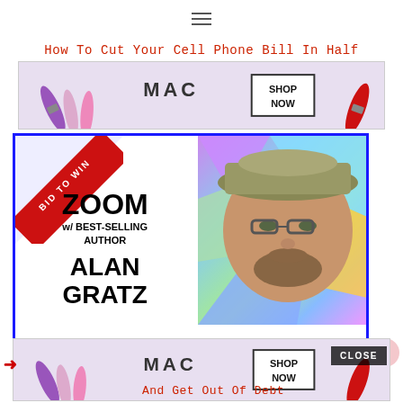≡
How To Cut Your Cell Phone Bill In Half
[Figure (advertisement): MAC cosmetics ad with lipsticks and SHOP NOW button]
[Figure (infographic): Bid to Win auction card: Zoom w/ Best-Selling Author Alan Gratz. Meet him with your school, school district, or writer's group! Proceeds benefit TABC Book Drop (Writer's Cubed, a 501c3).]
[Figure (advertisement): MAC cosmetics ad with lipsticks and SHOP NOW button (bottom)]
And Get Out Of Debt